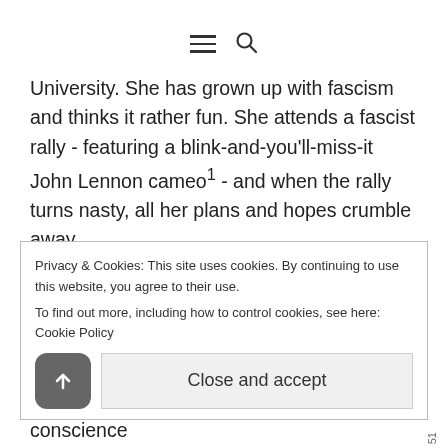[hamburger menu icon] [search icon]
University. She has grown up with fascism and thinks it rather fun. She attends a fascist rally - featuring a blink-and-you'll-miss-it John Lennon cameo¹ - and when the rally turns nasty, all her plans and hopes crumble away.
Carmichael's role in this book is different, too - he has been promoted/blackmailed into heading The Watch - a British version of the Gestapo. As Watch Commander, Carmichael does his best to assuage his guilty conscience
Privacy & Cookies: This site uses cookies. By continuing to use this website, you agree to their use.
To find out more, including how to control cookies, see here: Cookie Policy
[Close and accept]